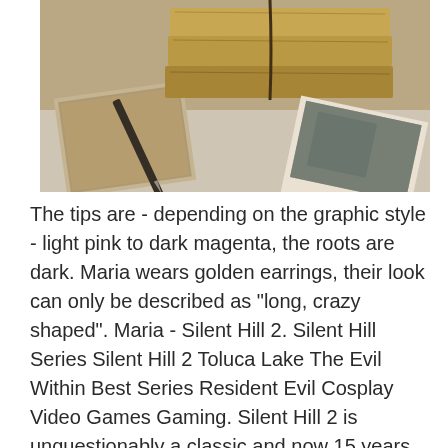[Figure (photo): Photo of old worn notebooks/journals stacked and tied with string, a fountain pen, vintage photographs on a table surface - sepia/warm toned image]
The tips are - depending on the graphic style - light pink to dark magenta, the roots are dark. Maria wears golden earrings, their look can only be described as "long, crazy shaped". Maria - Silent Hill 2. Silent Hill Series Silent Hill 2 Toluca Lake The Evil Within Best Series Resident Evil Cosplay Video Games Gaming. Silent Hill 2 is unquestionably a classic and now 15 years after the game's initial release, we're finally able to see some stellar Silent Hill 2 cosplay. 70.0k members in the silenthill